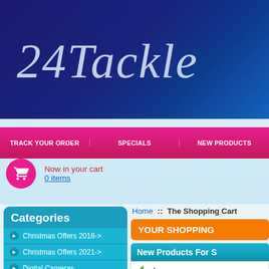24Tackle
TRACK YOUR ORDER | SPECIALS | NEW PRODUCTS
Now in your cart
0 items
Categories
Christmas Offers 2018->
Christmas Offers 2021->
Digital Cameras
Fish Finders & Chartplotters->
Fishing Combo Set->
Home :: The Shopping Cart
YOUR SHOPPING
New Products For S
[Figure (logo): ima For Your Catch & Life logo with green arrow]